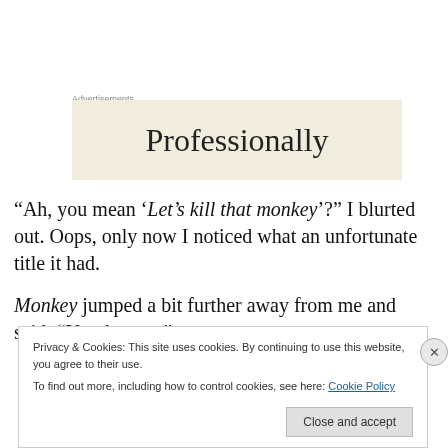Advertisements
[Figure (other): Advertisement banner with beige background showing the word 'Professionally']
“Ah, you mean ‘Let’s kill that monkey’?” I blurted out. Oops, only now I noticed what an unfortunate title it had.
Monkey jumped a bit further away from me and said: “Yes that one”.
Privacy & Cookies: This site uses cookies. By continuing to use this website, you agree to their use.
To find out more, including how to control cookies, see here: Cookie Policy